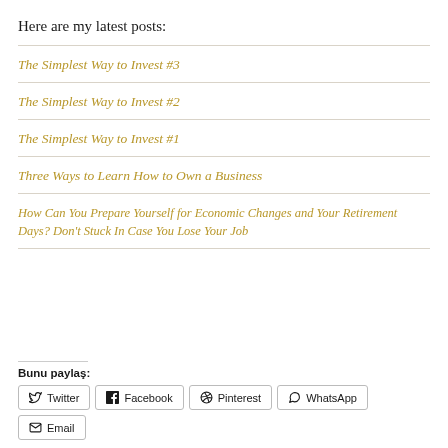Here are my latest posts:
The Simplest Way to Invest #3
The Simplest Way to Invest #2
The Simplest Way to Invest #1
Three Ways to Learn How to Own a Business
How Can You Prepare Yourself for Economic Changes and Your Retirement Days? Don't Stuck In Case You Lose Your Job
Bunu paylaş:
Twitter  Facebook  Pinterest  WhatsApp  Email